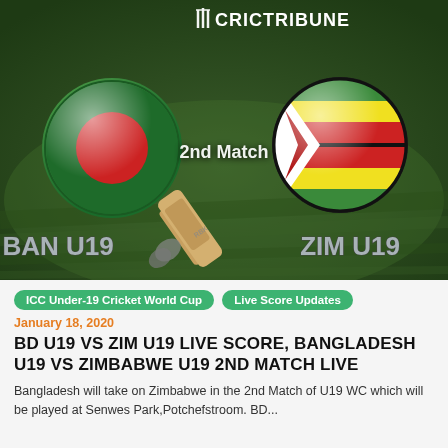[Figure (photo): Cricket match preview graphic showing Bangladesh U19 vs Zimbabwe U19, 2nd Match, with country flag balls and a cricket bat on a green grass background, with CricTribune logo at top]
ICC Under-19 Cricket World Cup
Live Score Updates
January 18, 2020
BD U19 VS ZIM U19 LIVE SCORE, BANGLADESH U19 VS ZIMBABWE U19 2ND MATCH LIVE
Bangladesh will take on Zimbabwe in the 2nd Match of U19 WC which will be played at Senwes Park,Potchefstroom. BD...